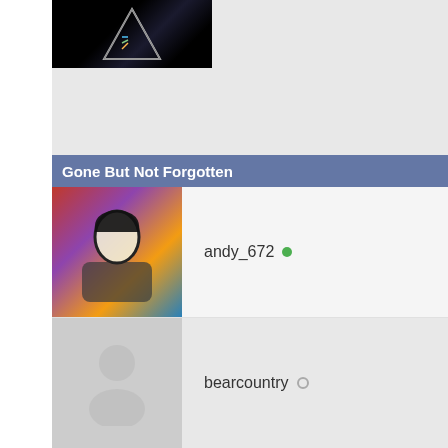[Figure (photo): Dark user avatar with Pink Floyd triangle prism logo at top of page]
Gone But Not Forgotten
andy_672 (online)
bearcountry (offline)
FloydianLeaf (online)
grolsch (online)
irax01 (online)
KoolKat (online)